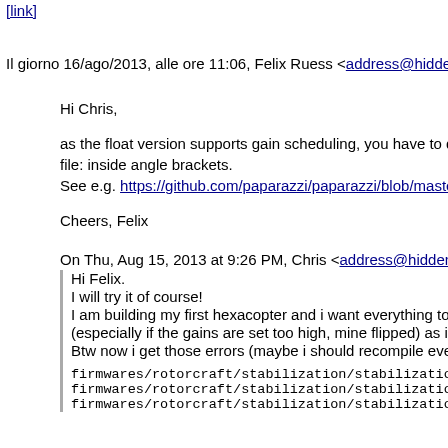[link at top, truncated]
Il giorno 16/ago/2013, alle ore 11:06, Felix Ruess <address@hidden
Hi Chris,
as the float version supports gain scheduling, you have to defi... file: inside angle brackets.
See e.g. https://github.com/paparazzi/paparazzi/blob/master/co...
Cheers, Felix
On Thu, Aug 15, 2013 at 9:26 PM, Chris <address@hidden> w
Hi Felix.
I will try it of course!
I am building my first hexacopter and i want everything to b...
(especially if the gains are set too high, mine flipped) as i le...
Btw now i get those errors (maybe i should recompile every...
firmwares/rotorcraft/stabilization/stabilization_attitude_ref_...
firmwares/rotorcraft/stabilization/stabilization_attitude_ref_...
firmwares/rotorcraft/stabilization/stabilization_attitude_ref_...